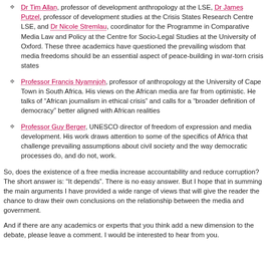Dr Tim Allan, professor of development anthropology at the LSE, Dr James Putzel, professor of development studies at the Crisis States Research Centre LSE, and Dr Nicole Stremlau, coordinator for the Programme in Comparative Media Law and Policy at the Centre for Socio-Legal Studies at the University of Oxford. These three academics have questioned the prevailing wisdom that media freedoms should be an essential aspect of peace-building in war-torn crisis states
Professor Francis Nyamnjoh, professor of anthropology at the University of Cape Town in South Africa. His views on the African media are far from optimistic. He talks of "African journalism in ethical crisis" and calls for a "broader definition of democracy" better aligned with African realities
Professor Guy Berger, UNESCO director of freedom of expression and media development. His work draws attention to some of the specifics of Africa that challenge prevailing assumptions about civil society and the way democratic processes do, and do not, work.
So, does the existence of a free media increase accountability and reduce corruption? The short answer is: "It depends". There is no easy answer. But I hope that in summing the main arguments I have provided a wide range of views that will give the reader the chance to draw their own conclusions on the relationship between the media and government.
And if there are any academics or experts that you think add a new dimension to the debate, please leave a comment. I would be interested to hear from you.